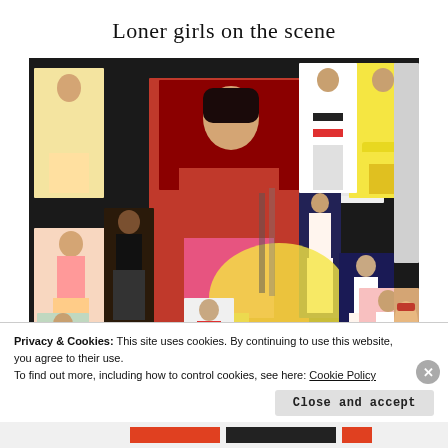Loner girls on the scene
[Figure (photo): A fashion mood board collage featuring multiple fashion model photographs arranged on a dark background, showing women in various colorful outfits and dresses.]
Privacy & Cookies: This site uses cookies. By continuing to use this website, you agree to their use.
To find out more, including how to control cookies, see here: Cookie Policy
Close and accept